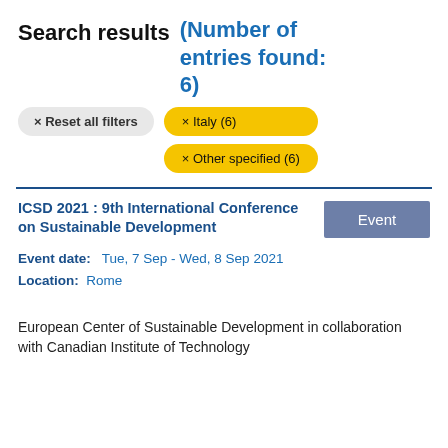Search results (Number of entries found: 6)
× Reset all filters
× Italy (6)
× Other specified (6)
ICSD 2021 : 9th International Conference on Sustainable Development
Event
Event date:   Tue, 7 Sep - Wed, 8 Sep 2021
Location:  Rome
European Center of Sustainable Development in collaboration with Canadian Institute of Technology